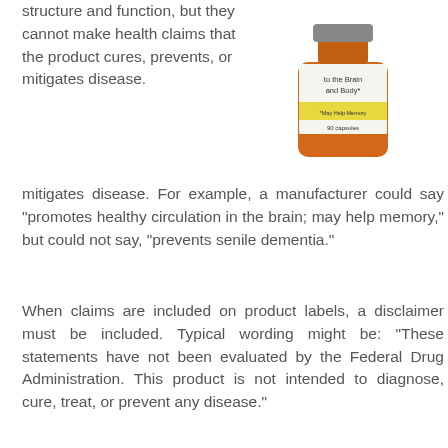structure and function, but they cannot make health claims that the product cures, prevents, or mitigates disease. For example, a manufacturer could say "promotes healthy circulation in the brain; may help memory," but could not say, "prevents senile dementia."
[Figure (photo): A supplement bottle with label text 'to the Brain and Body*', '*May Help Memory', '90 capsules']
When claims are included on product labels, a disclaimer must be included. Typical wording might be: "These statements have not been evaluated by the Federal Drug Administration. This product is not intended to diagnose, cure, treat, or prevent any disease."